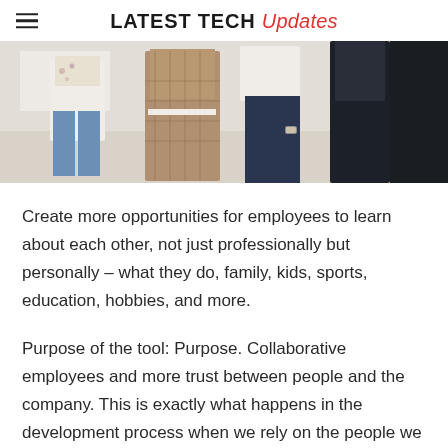LATEST TECH Updates
[Figure (photo): Group of people standing together in an office environment, cropped to show their torsos and lower bodies]
Create more opportunities for employees to learn about each other, not just professionally but personally – what they do, family, kids, sports, education, hobbies, and more.
Purpose of the tool: Purpose. Collaborative employees and more trust between people and the company. This is exactly what happens in the development process when we rely on the people we